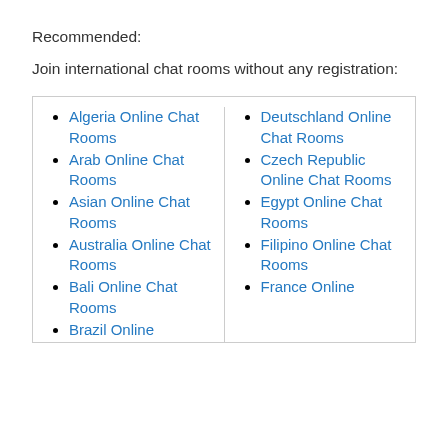Recommended:
Join international chat rooms without any registration:
Algeria Online Chat Rooms
Arab Online Chat Rooms
Asian Online Chat Rooms
Australia Online Chat Rooms
Bali Online Chat Rooms
Brazil Online
Deutschland Online Chat Rooms
Czech Republic Online Chat Rooms
Egypt Online Chat Rooms
Filipino Online Chat Rooms
France Online